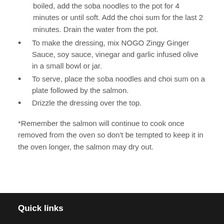boiled, add the soba noodles to the pot for 4 minutes or until soft. Add the choi sum for the last 2 minutes. Drain the water from the pot.
To make the dressing, mix NOGO Zingy Ginger Sauce, soy sauce, vinegar and garlic infused olive in a small bowl or jar.
To serve, place the soba noodles and choi sum on a plate followed by the salmon.
Drizzle the dressing over the top.
*Remember the salmon will continue to cook once removed from the oven so don’t be tempted to keep it in the oven longer, the salmon may dry out.
Quick links